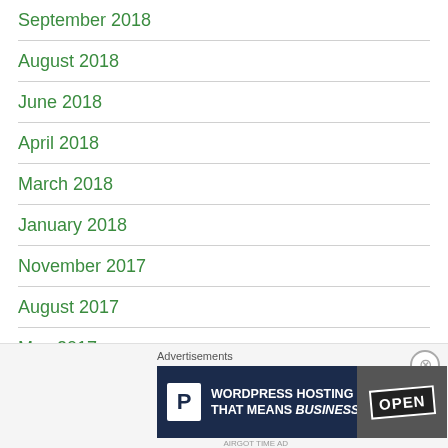September 2018
August 2018
June 2018
April 2018
March 2018
January 2018
November 2017
August 2017
May 2017
April 2017
[Figure (screenshot): Advertisement banner for WordPress hosting with 'OPEN' sign image and close button]